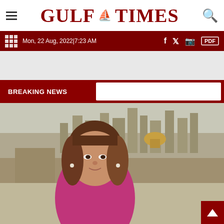GULF TIMES
Mon, 22 Aug, 2022|7:23 AM
BREAKING NEWS
[Figure (photo): A woman with shoulder-length brown hair wearing a magenta/pink top, photographed in front of a cityscape background showing a city with a golden dome (Jerusalem skyline).]